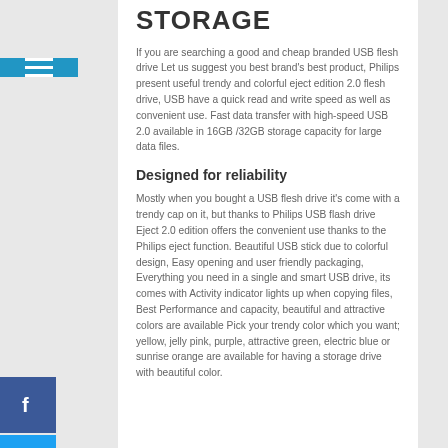STORAGE
If you are searching a good and cheap branded USB flesh drive Let us suggest you best brand's best product, Philips present useful trendy and colorful eject edition 2.0 flesh drive, USB have a quick read and write speed as well as convenient use. Fast data transfer with high-speed USB 2.0 available in 16GB /32GB storage capacity for large data files.
Designed for reliability
Mostly when you bought a USB flesh drive it's come with a trendy cap on it, but thanks to Philips USB flash drive Eject 2.0 edition offers the convenient use thanks to the Philips eject function. Beautiful USB stick due to colorful design, Easy opening and user friendly packaging, Everything you need in a single and smart USB drive, its comes with Activity indicator lights up when copying files, Best Performance and capacity, beautiful and attractive colors are available Pick your trendy color which you want; yellow, jelly pink, purple, attractive green, electric blue or sunrise orange are available for having a storage drive with beautiful color.